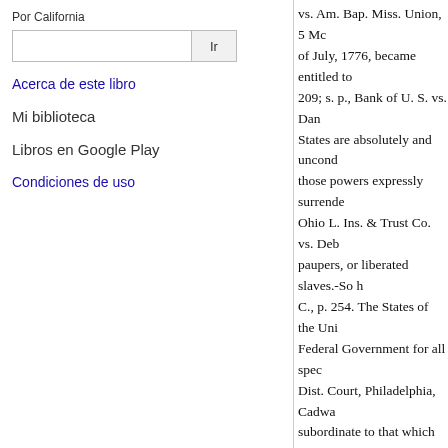Por California
Ir
Acerca de este libro
Mi biblioteca
Libros en Google Play
Condiciones de uso
vs. Am. Bap. Miss. Union, 5 Mc of July, 1776, became entitled to 209; s. p., Bank of U. S. vs. Dan States are absolutely and uncond those powers expressly surrende Ohio L. Ins. & Trust Co. vs. Deb paupers, or liberated slaves.-So h C., p. 254. The States of the Uni Federal Government for all spec Dist. Court, Philadelphia, Cadwa subordinate to that which he owe of its jurisdiction.-U. S. vs. Grei delegated powers; and all power to the people thereof.—Briscoe v
COMMERCE.—The power of C exclusive when exercised. The St understanding that in case of con of commercial intercourse, and c 46; People vs. Downer, 7 Cal., p p. 534.
BETWEEN THE STATES.—Th but by the provisions of this Arti and lumber floated in a stream f